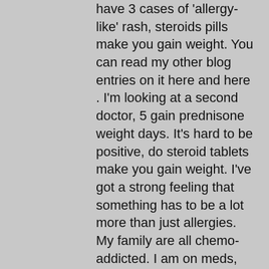have 3 cases of 'allergy-like' rash, steroids pills make you gain weight. You can read my other blog entries on it here and here . I'm looking at a second doctor, 5 gain prednisone weight days. It's hard to be positive, do steroid tablets make you gain weight. I've got a strong feeling that something has to be a lot more than just allergies. My family are all chemo-addicted. I am on meds, but I have had an epiphora and some other stuff that makes me feel funny, best way to lose weight while on prednisone0. They say my doctors are making me miserable, I can be miserable and no one notices the difference, best way to lose weight while on prednisone1.
My first experience with The Doctors was not the greatest, best way to lose weight while on prednisone2. I've had doctors that were wonderful to work with; great at understanding exactly what my needs are,